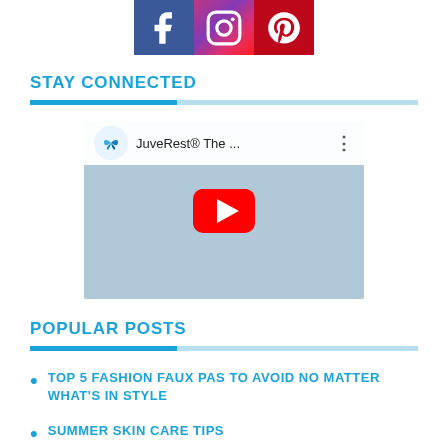[Figure (illustration): Three social media icons: Facebook (blue), Instagram (gradient pink/purple), Pinterest (red) displayed as square icon buttons with white logos]
STAY CONNECTED
[Figure (screenshot): YouTube video thumbnail showing JuveRest® The ... video with YouTube play button, channel icon with butterfly logo, and product/pillow in background]
POPULAR POSTS
TOP 5 FASHION FAUX PAS TO AVOID NO MATTER WHAT'S IN STYLE
SUMMER SKIN CARE TIPS